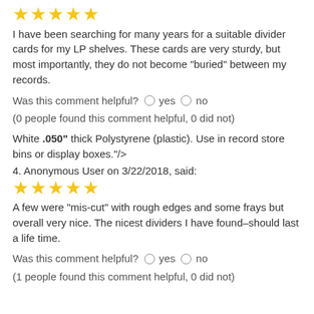[Figure (other): Five yellow star rating icons]
I have been searching for many years for a suitable divider cards for my LP shelves. These cards are very sturdy, but most importantly, they do not become "buried" between my records.
Was this comment helpful? ○ yes ○ no
(0 people found this comment helpful, 0 did not)
White .050" thick Polystyrene (plastic). Use in record store bins or display boxes."/>
4. Anonymous User on 3/22/2018, said:
[Figure (other): Five yellow star rating icons]
A few were "mis-cut" with rough edges and some frays but overall very nice. The nicest dividers I have found–should last a life time.
Was this comment helpful? ○ yes ○ no
(1 people found this comment helpful, 0 did not)